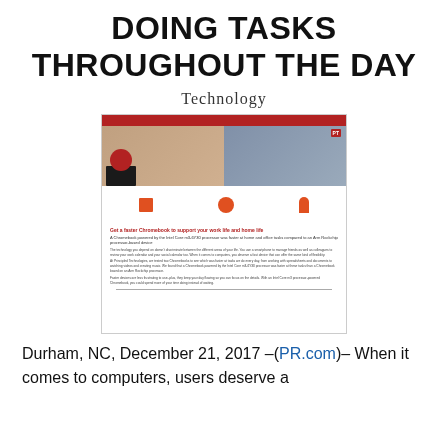DOING TASKS THROUGHOUT THE DAY
Technology
[Figure (screenshot): Screenshot of a Principled Technologies document about Chromebook performance, showing two women using laptops/phones, orange icons, and text about a faster Chromebook supporting work and home life with Intel Core m3-6Y30 processor vs Arm Rockchip-based device.]
Durham, NC, December 21, 2017 –(PR.com)– When it comes to computers, users deserve a